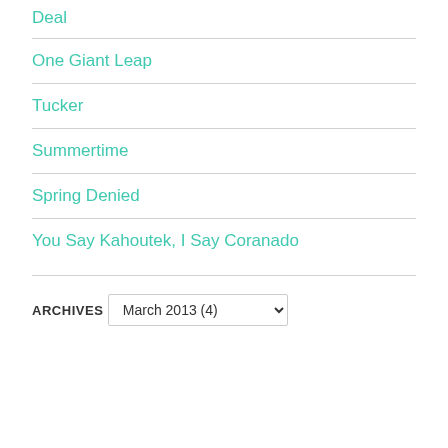Deal
One Giant Leap
Tucker
Summertime
Spring Denied
You Say Kahoutek, I Say Coranado
ARCHIVES
March 2013  (4)